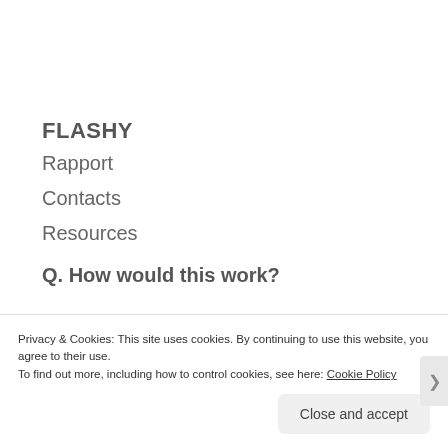FLASHY
Rapport
Contacts
Resources
Q. How would this work?
1.. GM's would pick a pyramid type, either Tall
Privacy & Cookies: This site uses cookies. By continuing to use this website, you agree to their use.
To find out more, including how to control cookies, see here: Cookie Policy
Close and accept